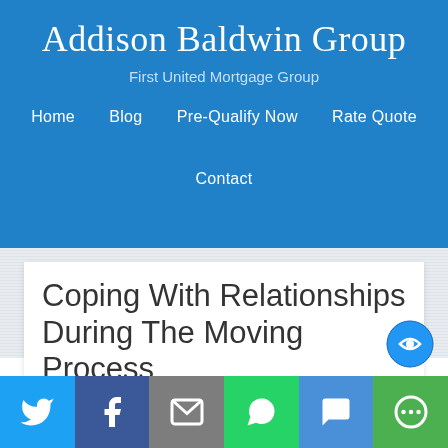Addison Baldwin Group
First United Mortgage Group
Home   Blog   Pre-Qualify Now   Rate Quote   Contact
Coping With Relationships During The Moving Process
[Figure (screenshot): Social share bar with Twitter, Facebook, Email, WhatsApp, SMS, and More buttons]